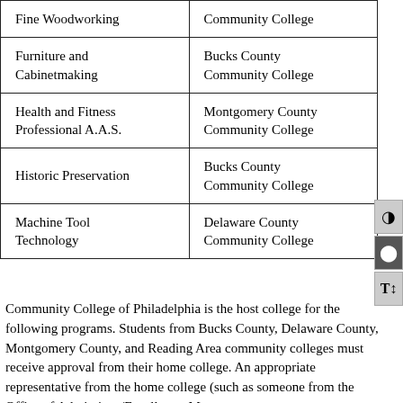| Program | College |
| --- | --- |
| Fine Woodworking | Community College |
| Furniture and Cabinetmaking | Bucks County Community College |
| Health and Fitness Professional A.A.S. | Montgomery County Community College |
| Historic Preservation | Bucks County Community College |
| Machine Tool Technology | Delaware County Community College |
Community College of Philadelphia is the host college for the following programs. Students from Bucks County, Delaware County, Montgomery County, and Reading Area community colleges must receive approval from their home college. An appropriate representative from the home college (such as someone from the Office of Admissions/Enrollment Management, a program coordinator, or an